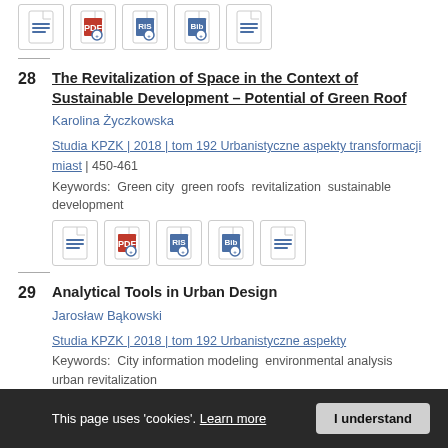[Figure (other): Row of five document icons at top of page]
28  The Revitalization of Space in the Context of Sustainable Development – Potential of Green Roof
Karolina Życzkowska
Studia KPZK | 2018 | tom 192 Urbanistyczne aspekty transformacji miast | 450-461
Keywords:  Green city  green roofs  revitalization  sustainable development
[Figure (other): Row of five document icons below entry 28]
29  Analytical Tools in Urban Design
Jarosław Bąkowski
Studia KPZK | 2018 | tom 192 Urbanistyczne aspekty
Keywords:  City information modeling  environmental analysis  urban revitalization
This page uses 'cookies'. Learn more  I understand